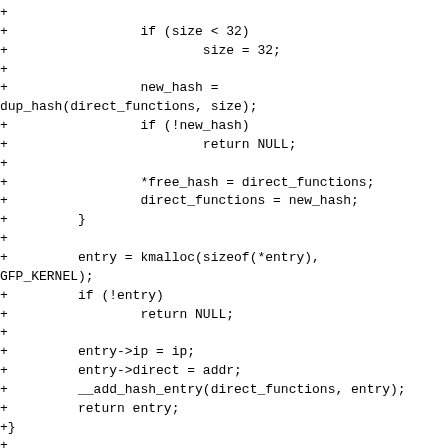Code diff showing additions to kernel ftrace functions including size check, hash duplication, entry allocation, and call_direct_funcs function definition